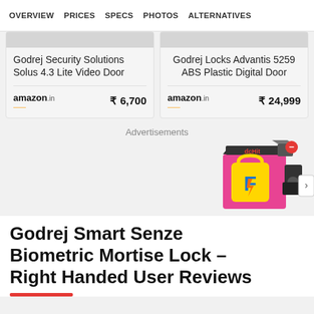OVERVIEW  PRICES  SPECS  PHOTOS  ALTERNATIVES
Godrej Security Solutions Solus 4.3 Lite Video Door
amazon.in  ₹ 6,700
Godrej Locks Advantis 5259 ABS Plastic Digital Door
amazon.in  ₹ 24,999
Advertisements
[Figure (illustration): Flipkart promotional banner with yellow shopping bag, Flipkart logo, and household products]
Godrej Smart Senze Biometric Mortise Lock – Right Handed User Reviews